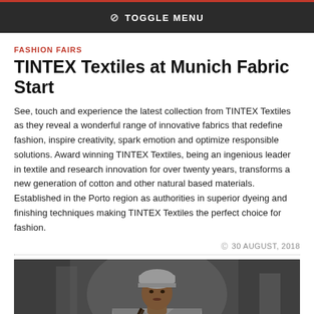TOGGLE MENU
FASHION FAIRS
TINTEX Textiles at Munich Fabric Start
See, touch and experience the latest collection from TINTEX Textiles as they reveal a wonderful range of innovative fabrics that redefine fashion, inspire creativity, spark emotion and optimize responsible solutions. Award winning TINTEX Textiles, being an ingenious leader in textile and research innovation for over twenty years, transforms a new generation of cotton and other natural based materials. Established in the Porto region as authorities in superior dyeing and finishing techniques making TINTEX Textiles the perfect choice for fashion.
30 AUGUST, 2018
[Figure (photo): Fashion model wearing a grey coat and grey beanie hat, with braided hair extensions, walking on a runway or street setting with blurred background.]